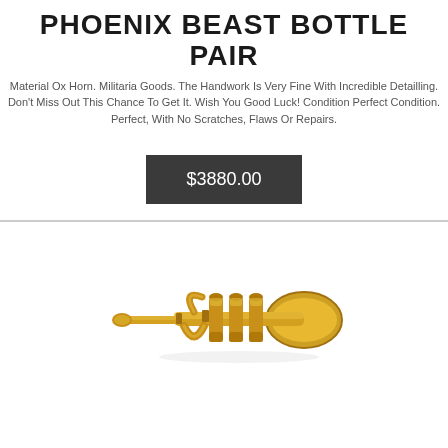PHOENIX BEAST BOTTLE PAIR
Material Ox Horn. Militaria Goods. The Handwork Is Very Fine With Incredible Detailling. Don't Miss Out This Chance To Get It. Wish You Good Luck! Condition Perfect Condition. Perfect, With No Scratches, Flaws Or Repairs.
$3880.00
[Figure (photo): A small golden/brass trumpet or cornet figurine photographed on a white background]